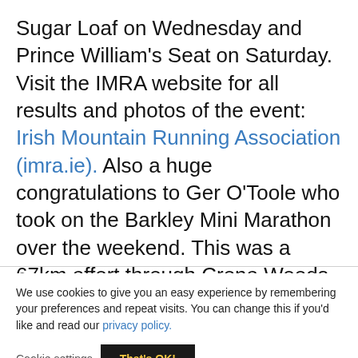Sugar Loaf on Wednesday and Prince William's Seat on Saturday. Visit the IMRA website for all results and photos of the event: Irish Mountain Running Association (imra.ie). Also a huge congratulations to Ger O'Toole who took on the Barkley Mini Marathon over the weekend. This was a 67km effort through Crone Woods in county Wicklow in an impressive 8 hours and 33 minutes. Amazing achievement.
We use cookies to give you an easy experience by remembering your preferences and repeat visits. You can change this if you'd like and read our privacy policy.
Cookie settings   That's OK!